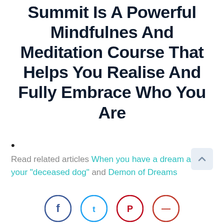Summit Is A Powerful Mindfulnes And Meditation Course That Helps You Realise And Fully Embrace Who You Are
•
Read related articles When you have a dream about your "deceased dog" and Demon of Dreams
[Figure (other): Social share icons: Facebook (blue circle), Twitter (cyan circle), Pinterest (red circle), Email/share (red circle) — partially visible at bottom of page]